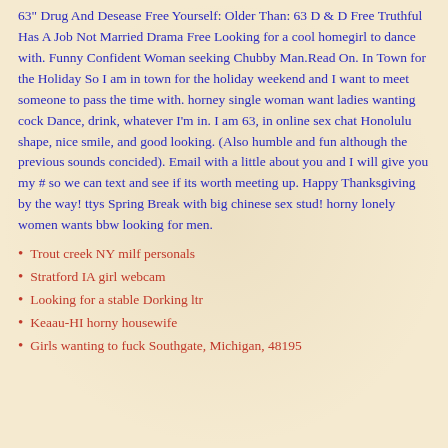63" Drug And Desease Free Yourself: Older Than: 63 D & D Free Truthful Has A Job Not Married Drama Free Looking for a cool homegirl to dance with. Funny Confident Woman seeking Chubby Man.Read On. In Town for the Holiday So I am in town for the holiday weekend and I want to meet someone to pass the time with. horney single woman want ladies wanting cock Dance, drink, whatever I'm in. I am 63, in online sex chat Honolulu shape, nice smile, and good looking. (Also humble and fun although the previous sounds concided). Email with a little about you and I will give you my # so we can text and see if its worth meeting up. Happy Thanksgiving by the way! ttys Spring Break with big chinese sex stud! horny lonely women wants bbw looking for men.
Trout creek NY milf personals
Stratford IA girl webcam
Looking for a stable Dorking ltr
Keaau-HI horny housewife
Girls wanting to fuck Southgate, Michigan, 48195